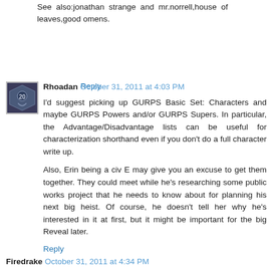See also:jonathan strange and mr.norrell,house of leaves,good omens.
Reply
[Figure (other): User avatar for Rhoadan - dark blue/grey shield icon with dragon emblem]
Rhoadan  October 31, 2011 at 4:03 PM
I'd suggest picking up GURPS Basic Set: Characters and maybe GURPS Powers and/or GURPS Supers. In particular, the Advantage/Disadvantage lists can be useful for characterization shorthand even if you don't do a full character write up.
Also, Erin being a civ E may give you an excuse to get them together. They could meet while he's researching some public works project that he needs to know about for planning his next big heist. Of course, he doesn't tell her why he's interested in it at first, but it might be important for the big Reveal later.
Reply
Firedrake  October 31, 2011 at 4:34 PM